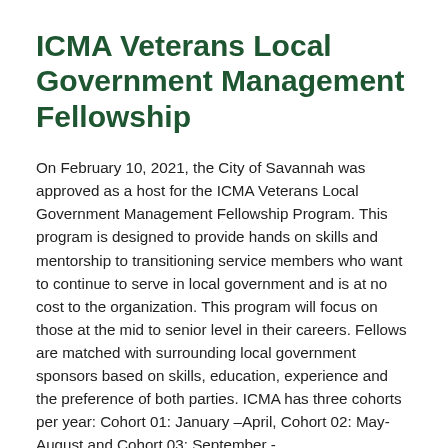ICMA Veterans Local Government Management Fellowship
On February 10, 2021, the City of Savannah was approved as a host for the ICMA Veterans Local Government Management Fellowship Program. This program is designed to provide hands on skills and mentorship to transitioning service members who want to continue to serve in local government and is at no cost to the organization. This program will focus on those at the mid to senior level in their careers. Fellows are matched with surrounding local government sponsors based on skills, education, experience and the preference of both parties. ICMA has three cohorts per year: Cohort 01: January –April, Cohort 02: May-August and Cohort 03: September -